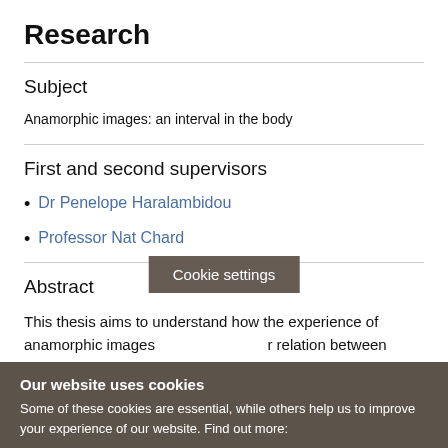Research
Subject
Anamorphic images: an interval in the body
First and second supervisors
Dr Penelope Haralambidou
Professor Nat Chard
Abstract
This thesis aims to understand how the experience of anamorphic images [Cookie settings] r relation between
Our website uses cookies
Some of these cookies are essential, while others help us to improve your experience of our website. Find out more: